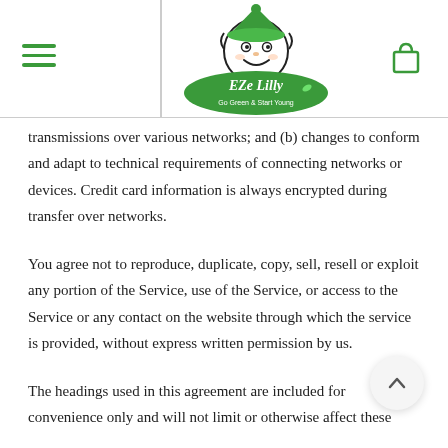[Figure (logo): EZe Lilly logo — cartoon elf character with green hat above an oval green banner reading 'EZe Lilly' and 'Go Green & Start Young']
transmissions over various networks; and (b) changes to conform and adapt to technical requirements of connecting networks or devices. Credit card information is always encrypted during transfer over networks.
You agree not to reproduce, duplicate, copy, sell, resell or exploit any portion of the Service, use of the Service, or access to the Service or any contact on the website through which the service is provided, without express written permission by us.
The headings used in this agreement are included for convenience only and will not limit or otherwise affect these